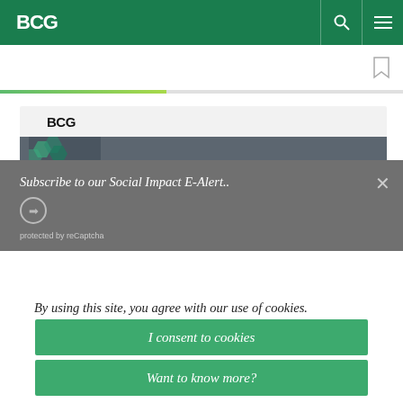BCG
[Figure (screenshot): BCG website screenshot showing navigation bar, bookmark icon, progress bar, BCG logo card, and a dark overlay with 'Subscribe to our Social Impact E-Alert..' text, a circular arrow button, and 'protected by reCaptcha' text.]
By using this site, you agree with our use of cookies.
I consent to cookies
Want to know more?
Read our Cookie Policy